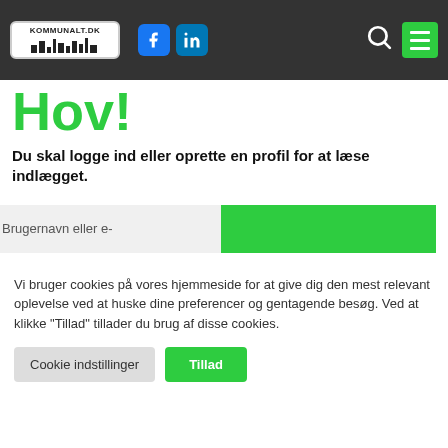[Figure (screenshot): Website navigation bar with kommunalt.dk logo, Facebook and LinkedIn icons, search icon, and green hamburger menu icon on dark background]
Hov!
Du skal logge ind eller oprette en profil for at læse indlægget.
[Figure (screenshot): Login form with username/email input field and green login button, partially visible]
Vi bruger cookies på vores hjemmeside for at give dig den mest relevant oplevelse ved at huske dine preferencer og gentagende besøg. Ved at klikke "Tillad" tillader du brug af disse cookies.
Cookie indstillinger
Tillad